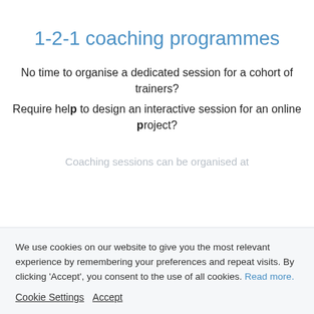1-2-1 coaching programmes
No time to organise a dedicated session for a cohort of trainers?
Require help to design an interactive session for an online project?
Coaching sessions can be organised at
We use cookies on our website to give you the most relevant experience by remembering your preferences and repeat visits. By clicking 'Accept', you consent to the use of all cookies. Read more.
Cookie Settings  Accept